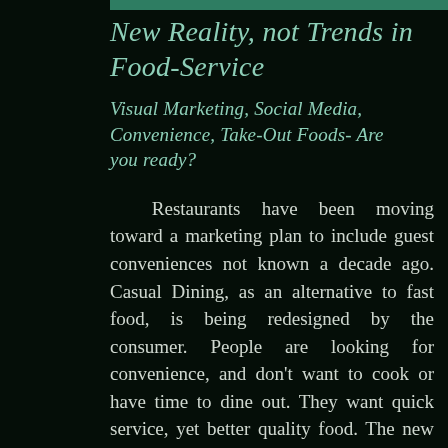New Reality, not Trends in Food-Service
Visual Marketing, Social Media, Convenience, Take-Out Foods- Are you ready?
Restaurants have been moving toward a marketing plan to include guest conveniences not known a decade ago. Casual Dining, as an alternative to fast food, is being redesigned by the consumer. People are looking for convenience, and don't want to cook or have time to dine out. They want quick service, yet better quality food. The new realities involve ordering ahead for a sit-